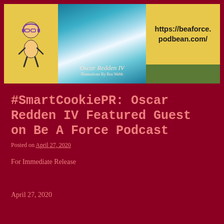[Figure (illustration): Banner image for Be A Force Podcast featuring a cartoon character on yellow background on the left, a swirling blue/teal/white abstract background in the middle with the text 'Oscar Redden IV / Illustrations By Ros Webb', and a yellow panel on the right with the URL 'https://beaforce.podbean.com/' in bold, with a green strip in the bottom right corner.]
#SmartCookiePR: Oscar Redden IV Featured Guest on Be A Force Podcast
Posted on April 27, 2020
For Immediate Release
April 27, 2020
Chelsea DeVries